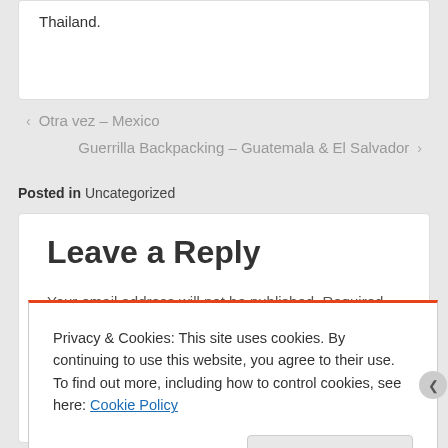Thailand.
‹ Otra vez – Mexico
Guerrilla Backpacking – Guatemala & El Salvador ›
Posted in Uncategorized
Leave a Reply
Your email address will not be published. Required
Privacy & Cookies: This site uses cookies. By continuing to use this website, you agree to their use.
To find out more, including how to control cookies, see here: Cookie Policy